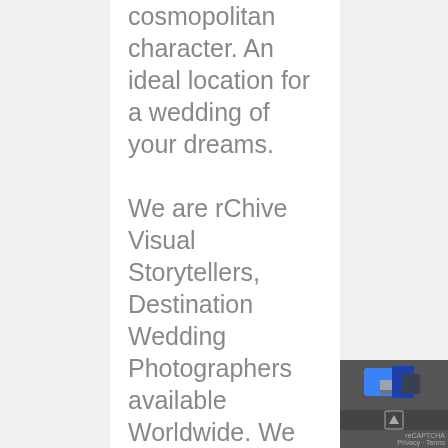cosmopolitan character. An ideal location for a wedding of your dreams.

We are rChive Visual Storytellers, Destination Wedding Photographers available Worldwide. We welcome you to our world of Storytelling. Take a